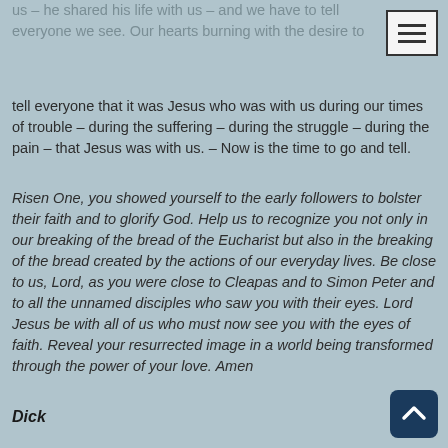us – he shared his life with us – and we have to tell everyone we see. Our hearts burning with the desire to tell everyone that it was Jesus who was with us during our times of trouble – during the suffering – during the struggle – during the pain – that Jesus was with us. – Now is the time to go and tell.
Risen One, you showed yourself to the early followers to bolster their faith and to glorify God. Help us to recognize you not only in our breaking of the bread of the Eucharist but also in the breaking of the bread created by the actions of our everyday lives. Be close to us, Lord, as you were close to Cleapas and to Simon Peter and to all the unnamed disciples who saw you with their eyes. Lord Jesus be with all of us who must now see you with the eyes of faith. Reveal your resurrected image in a world being transformed through the power of your love. Amen
Dick